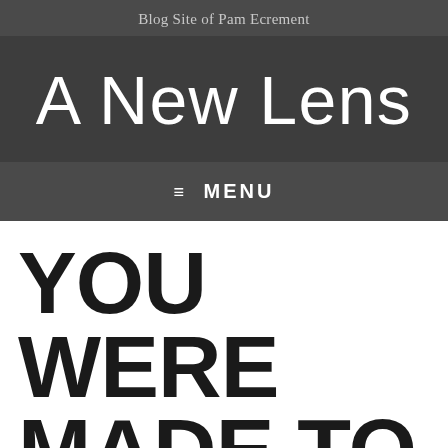Blog Site of Pam Ecrement
A New Lens
≡ MENU
YOU WERE MADE TO